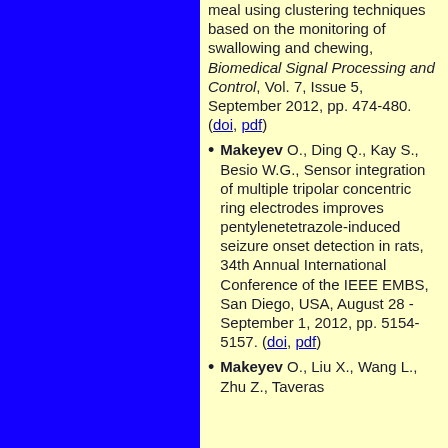meal using clustering techniques based on the monitoring of swallowing and chewing, Biomedical Signal Processing and Control, Vol. 7, Issue 5, September 2012, pp. 474-480. (doi, pdf)
Makeyev O., Ding Q., Kay S., Besio W.G., Sensor integration of multiple tripolar concentric ring electrodes improves pentylenetetrazole-induced seizure onset detection in rats, 34th Annual International Conference of the IEEE EMBS, San Diego, USA, August 28 - September 1, 2012, pp. 5154-5157. (doi, pdf)
Makeyev O., Liu X., Wang L., Zhu Z., Taveras ...